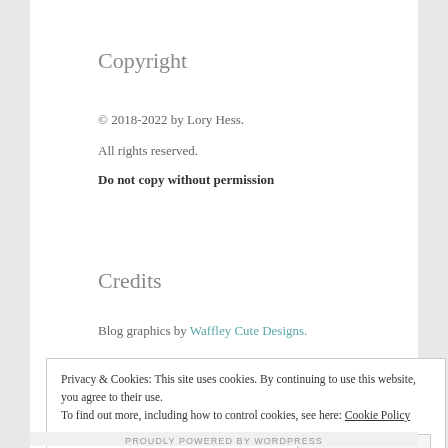Copyright
© 2018-2022 by Lory Hess.
All rights reserved.
Do not copy without permission
Credits
Blog graphics by Waffley Cute Designs.
Privacy & Cookies: This site uses cookies. By continuing to use this website, you agree to their use.
To find out more, including how to control cookies, see here: Cookie Policy
PROUDLY POWERED BY WORDPRESS